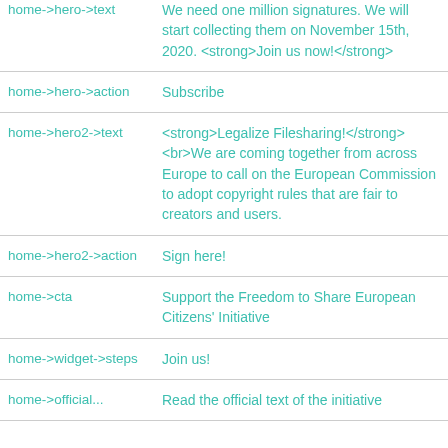| home->hero->text | We need one million signatures. We will start collecting them on November 15th, 2020. <strong>Join us now!</strong> |
| home->hero->action | Subscribe |
| home->hero2->text | <strong>Legalize Filesharing!</strong><br>We are coming together from across Europe to call on the European Commission to adopt copyright rules that are fair to creators and users. |
| home->hero2->action | Sign here! |
| home->cta | Support the Freedom to Share European Citizens' Initiative |
| home->widget->steps | Join us! |
| home->official... | Read the official text of the initiative |